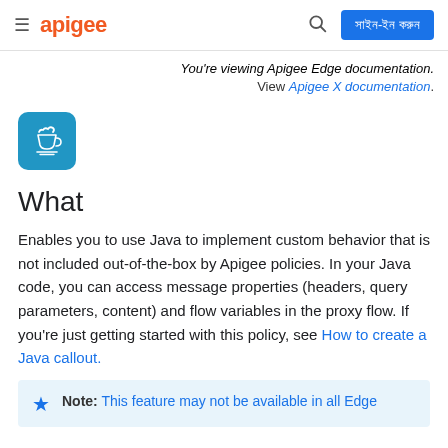apigee [navigation bar with sign-in button]
You're viewing Apigee Edge documentation. View Apigee X documentation.
[Figure (logo): Java logo icon — white coffee cup on blue rounded square background]
What
Enables you to use Java to implement custom behavior that is not included out-of-the-box by Apigee policies. In your Java code, you can access message properties (headers, query parameters, content) and flow variables in the proxy flow. If you're just getting started with this policy, see How to create a Java callout.
Note: This feature may not be available in all Edge